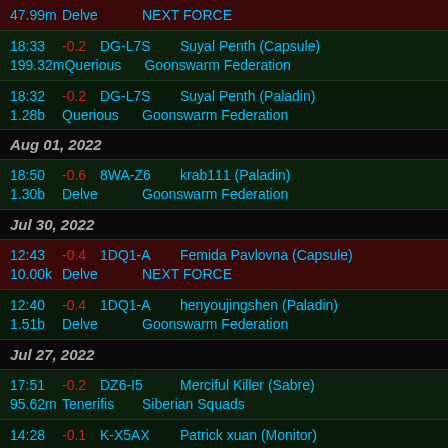47.99m  Delve  NEXT FORCE
18:33  -0.2 DG-L7S  Suyal Penth (Capsule)
199.32m  Querious  Goonswarm Federation
18:32  -0.2 DG-L7S  Suyal Penth (Paladin)
1.28b  Querious  Goonswarm Federation
Aug 01, 2022
18:50  -0.6 8WA-Z6  krab111 (Paladin)
1.30b  Delve  Goonswarm Federation
Jul 30, 2022
12:43  -0.4 1DQ1-A  Femida Pavlovna (Capsule)
10.00k  Delve  NEXT FORCE
12:40  -0.4 1DQ1-A  henyoujingshen (Paladin)
1.51b  Delve  Goonswarm Federation
Jul 27, 2022
17:51  -0.2 DZ6-I5  Merciful Killer (Sabre)
95.62m  Tenerifis  Siberian Squads
14:28  -0.1 K-X5AX  Patrick xuan (Monitor)